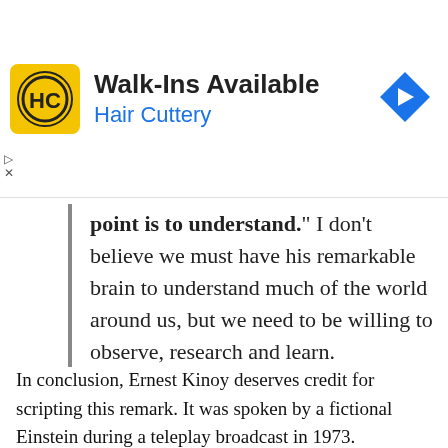[Figure (screenshot): Advertisement banner for Hair Cuttery salon: yellow square logo with HC monogram, text 'Walk-Ins Available' in bold black, 'Hair Cuttery' in blue, blue diamond navigation arrow icon on right, ad controls (play/close) on left.]
point is to understand." I don't believe we must have his remarkable brain to understand much of the world around us, but we need to be willing to observe, research and learn.
In conclusion, Ernest Kinoy deserves credit for scripting this remark. It was spoken by a fictional Einstein during a teleplay broadcast in 1973. Subsequently, it was directly credited to Einstein probably because of confusion.
Image Notes: Public domain illustration of red and black question marks from qimono at Pixabay.